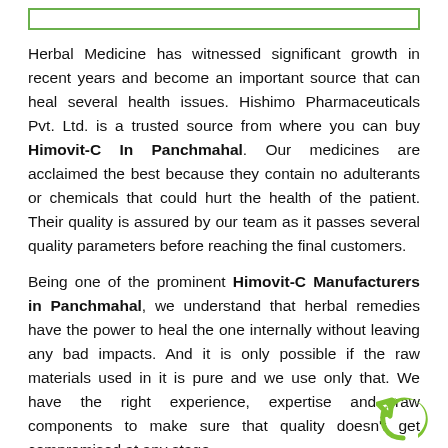Herbal Medicine has witnessed significant growth in recent years and become an important source that can heal several health issues. Hishimo Pharmaceuticals Pvt. Ltd. is a trusted source from where you can buy Himovit-C In Panchmahal. Our medicines are acclaimed the best because they contain no adulterants or chemicals that could hurt the health of the patient. Their quality is assured by our team as it passes several quality parameters before reaching the final customers.
Being one of the prominent Himovit-C Manufacturers in Panchmahal, we understand that herbal remedies have the power to heal the one internally without leaving any bad impacts. And it is only possible if the raw materials used in it is pure and we use only that. We have the right experience, expertise and raw components to make sure that quality doesn't get compromised at any stage.